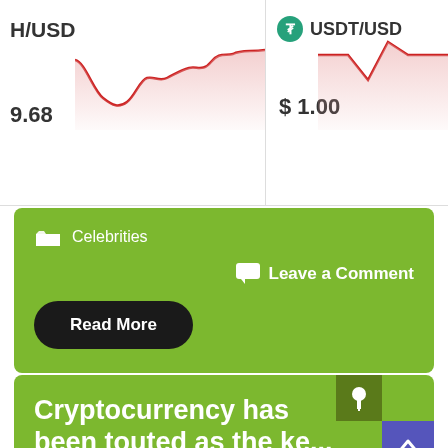[Figure (line-chart): Partial crypto ticker showing H/USD price chart with red line, price 9.68, and USDT/USD chart at $1.00 with partial red chart]
Celebrities
Leave a Comment
Read More
Cryptocurrency has been touted as the ke...